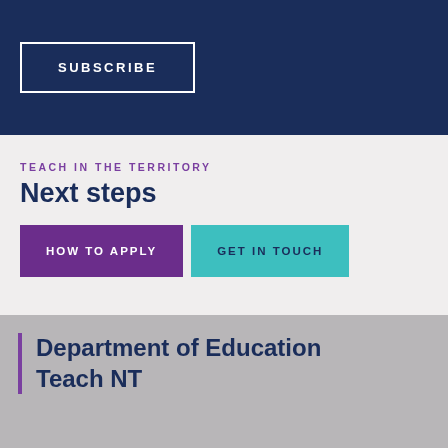SUBSCRIBE
TEACH IN THE TERRITORY
Next steps
HOW TO APPLY
GET IN TOUCH
Department of Education
Teach NT